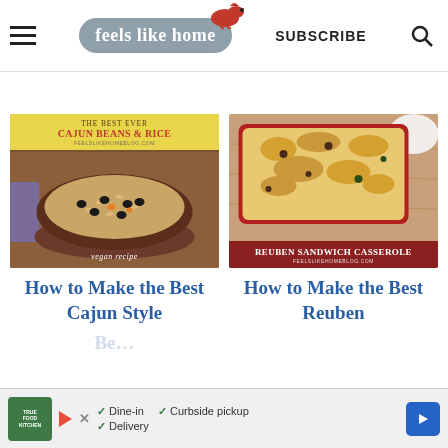feels like home | SUBSCRIBE
[Figure (photo): Left card: 'The Best Ever Cajun Beans & Rice' recipe image with yellow header and bowl of rice with black beans, vegan recipe label at bottom]
[Figure (photo): Right card: 'Reuben Sandwich Casserole' recipe image showing a baked casserole dish with cheesy topping on a wooden board, dark red banner at bottom]
How to Make the Best Cajun Style
How to Make the Best Reuben
Dine-in  Curbside pickup  Delivery  (True Food Kitchen ad)